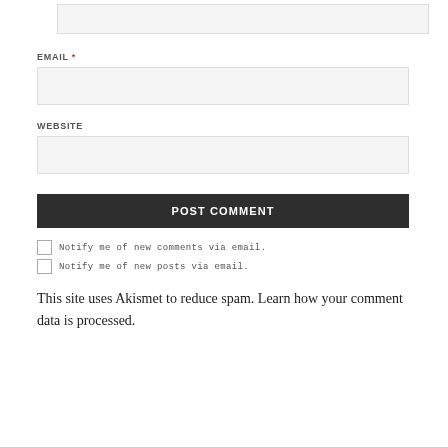[top input box — partial, cropped at top]
EMAIL *
[email input field]
WEBSITE
[website input field]
POST COMMENT
Notify me of new comments via email.
Notify me of new posts via email.
This site uses Akismet to reduce spam. Learn how your comment data is processed.